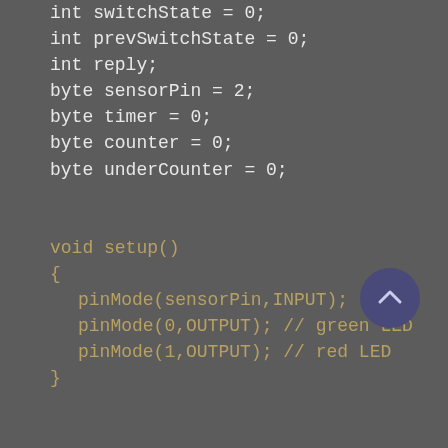[Figure (screenshot): Arduino/C++ code snippet on dark grey background showing variable declarations (switchState, prevSwitchState, reply, sensorPin, timer, counter, underCounter) and function definitions (void setup() with pinMode calls, void loop() with digitalRead), with a scroll-up button in the lower right.]